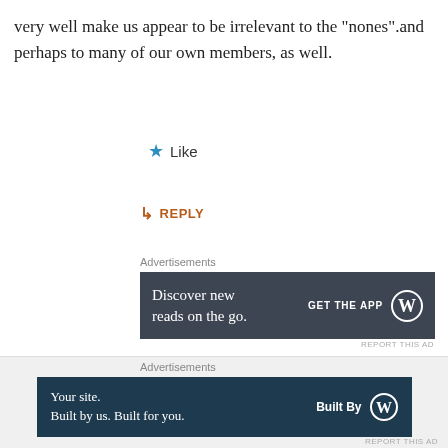very well make us appear to be irrelevant to the “nones”.and perhaps to many of our own members, as well.
★ Like
↳ REPLY
Advertisements
[Figure (infographic): Advertisement banner: dark slate blue background. Text: 'Discover new reads on the go.' Right side: 'GET THE APP' with WordPress logo.]
REPORT THIS AD
Debbi
APRIL 19, 2016 AT 1:59 PM
Advertisements
[Figure (infographic): Advertisement banner: dark navy background. Text: 'Your site. Built by us. Built for you.' Right side: 'Built By' with WordPress logo.]
REPORT THIS AD